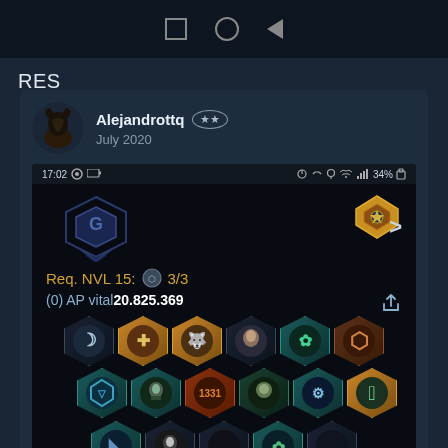[Figure (screenshot): Top navigation bar with square, circle, and back triangle icons on dark background]
RES
Alejandrottq ★★ July 2020
[Figure (screenshot): Mobile game screenshot showing a squad builder UI with status bar reading 17:02 and 34%, game logo, Req. NVL 15: 3/3, (0) AP vital 20.825.369, and a grid of champion hexagon icons]